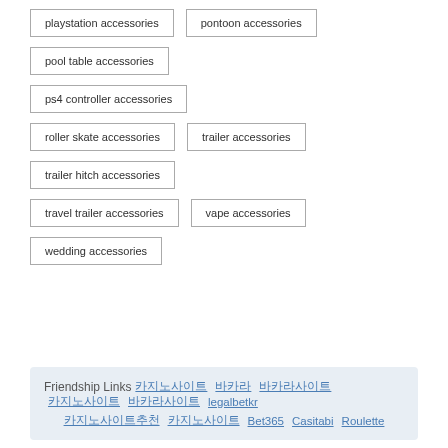playstation accessories
pontoon accessories
pool table accessories
ps4 controller accessories
roller skate accessories
trailer accessories
trailer hitch accessories
travel trailer accessories
vape accessories
wedding accessories
Friendship Links  카지노사이트  바카라  바카라사이트  카지노사이트  바카라사이트  legalbetkr  카지노사이트추천  카지노사이트  Bet365  Casitabi  Roulette